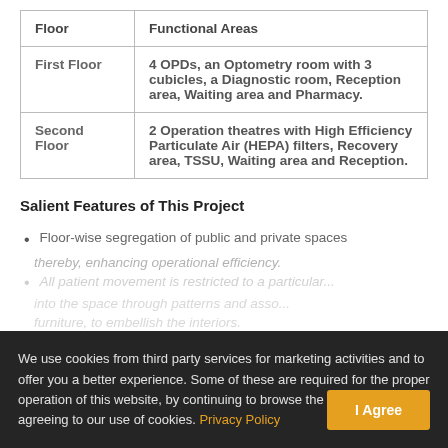| Floor | Functional Areas |
| --- | --- |
| First Floor | 4 OPDs, an Optometry room with 3 cubicles, a Diagnostic room, Reception area, Waiting area and Pharmacy. |
| Second Floor | 2 Operation theatres with High Efficiency Particulate Air (HEPA) filters, Recovery area, TSSU, Waiting area and Reception. |
Salient Features of This Project
Floor-wise segregation of public and private spaces thereby, enhancing operational efficiency.
We use cookies from third party services for marketing activities and to offer you a better experience. Some of these are required for the proper operation of this website, by continuing to browse the site you are agreeing to our use of cookies. Privacy Policy